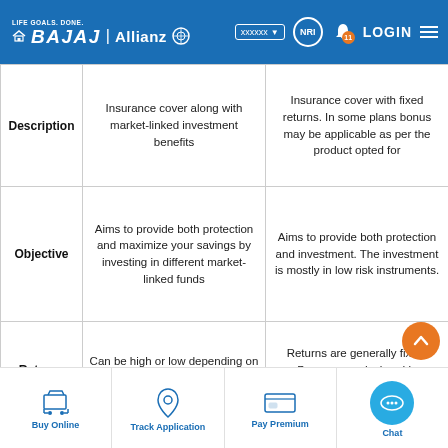LIFE GOALS. DONE. | BAJAJ Allianz | LOGIN | NRI
|  | ULIP | Traditional Plans |
| --- | --- | --- |
| Description | Insurance cover along with market-linked investment benefits | Insurance cover with fixed returns. In some plans bonus may be applicable as per the product opted for |
| Objective | Aims to provide both protection and maximize your savings by investing in different market-linked funds | Aims to provide both protection and investment. The investment is mostly in low risk instruments. |
| Returns | Can be high or low depending on the market performance | Returns are generally fixed. Bonus once declared is guaranteed |
|  | You can switch between... |  |
Buy Online | Track Application | Pay Premium | Chat